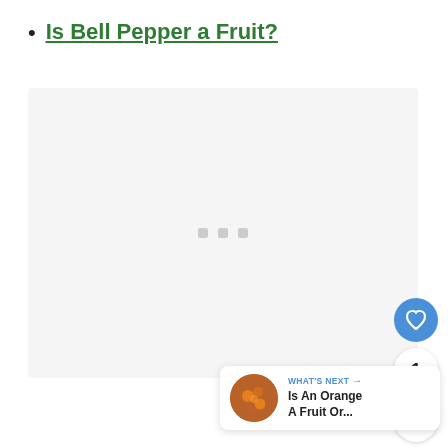Is Bell Pepper a Fruit?
[Figure (photo): Large image placeholder with loading dots, light gray background]
[Figure (infographic): Floating action buttons: heart/like button (blue, count=1) and share button, plus a 'What's Next' card showing 'Is An Orange A Fruit Or...' with orange fruit thumbnail]